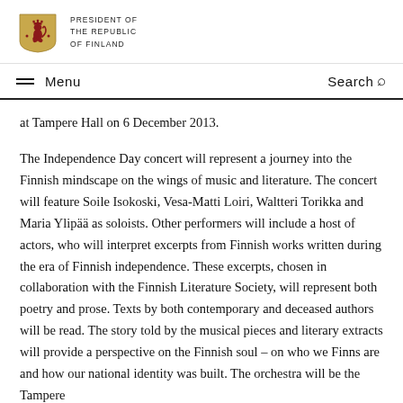PRESIDENT OF THE REPUBLIC OF FINLAND
at Tampere Hall on 6 December 2013.
The Independence Day concert will represent a journey into the Finnish mindscape on the wings of music and literature. The concert will feature Soile Isokoski, Vesa-Matti Loiri, Waltteri Torikka and Maria Ylipää as soloists. Other performers will include a host of actors, who will interpret excerpts from Finnish works written during the era of Finnish independence. These excerpts, chosen in collaboration with the Finnish Literature Society, will represent both poetry and prose. Texts by both contemporary and deceased authors will be read. The story told by the musical pieces and literary extracts will provide a perspective on the Finnish soul – on who we Finns are and how our national identity was built. The orchestra will be the Tampere